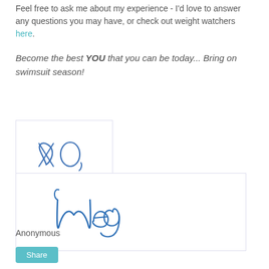Feel free to ask me about my experience - I'd love to answer any questions you may have, or check out weight watchers here.
Become the best YOU that you can be today... Bring on swimsuit season!
[Figure (illustration): Handwritten 'xo,' signature in blue ink on a white card with light border]
[Figure (illustration): Handwritten 'Meg' signature in blue ink on a white card with light border]
Anonymous
Share